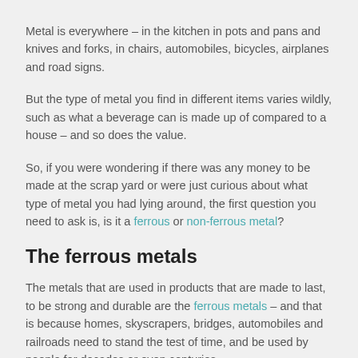Metal is everywhere – in the kitchen in pots and pans and knives and forks, in chairs, automobiles, bicycles, airplanes and road signs.
But the type of metal you find in different items varies wildly, such as what a beverage can is made up of compared to a house – and so does the value.
So, if you were wondering if there was any money to be made at the scrap yard or were just curious about what type of metal you had lying around, the first question you need to ask is, is it a ferrous or non-ferrous metal?
The ferrous metals
The metals that are used in products that are made to last, to be strong and durable are the ferrous metals – and that is because homes, skyscrapers, bridges, automobiles and railroads need to stand the test of time, and be used by people for decades or even centuries.